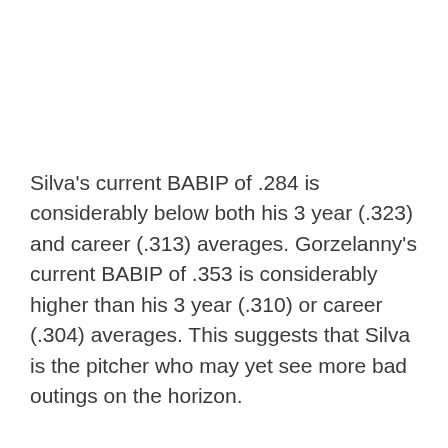Silva's current BABIP of .284 is considerably below both his 3 year (.323) and career (.313) averages. Gorzelanny's current BABIP of .353 is considerably higher than his 3 year (.310) or career (.304) averages. This suggests that Silva is the pitcher who may yet see more bad outings on the horizon.